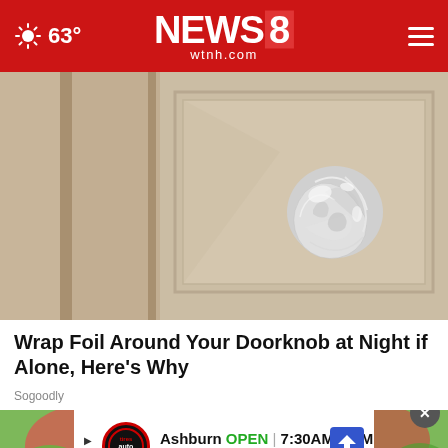63° NEWS 8 wtnh.com
[Figure (photo): Close-up photo of a door knob wrapped in aluminum foil on a beige/tan interior door]
Wrap Foil Around Your Doorknob at Night if Alone, Here's Why
Sogoodly
[Figure (photo): Partial photo of colorful garden scene with advertisement overlay: Ashburn OPEN 7:30AM-6PM 43781 Parkhurst Plaza, Ashburn with Tires Plus auto logo and navigation arrow icon]